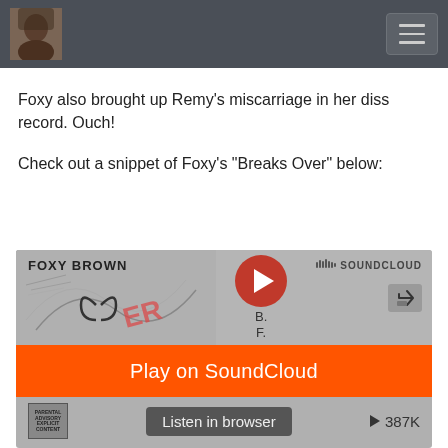Foxy also brought up Remy's miscarriage in her diss record. Ouch!
Check out a snippet of Foxy's "Breaks Over" below:
[Figure (screenshot): SoundCloud embedded player for Foxy Brown showing artwork with 'FOXY BROWN' text, play button, SoundCloud logo, orange 'Play on SoundCloud' button, 'Listen in browser' button, and play count of 387K]